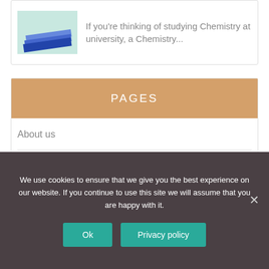[Figure (photo): Books stacked on a teal/green background thumbnail image]
If you're thinking of studying Chemistry at university, a Chemistry...
PAGES
About us
Blog
Feedback
We use cookies to ensure that we give you the best experience on our website. If you continue to use this site we will assume that you are happy with it.
Ok
Privacy policy